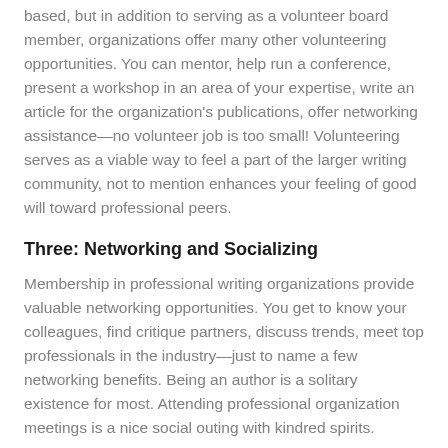based, but in addition to serving as a volunteer board member, organizations offer many other volunteering opportunities. You can mentor, help run a conference, present a workshop in an area of your expertise, write an article for the organization's publications, offer networking assistance—no volunteer job is too small! Volunteering serves as a viable way to feel a part of the larger writing community, not to mention enhances your feeling of good will toward professional peers.
Three: Networking and Socializing
Membership in professional writing organizations provide valuable networking opportunities. You get to know your colleagues, find critique partners, discuss trends, meet top professionals in the industry—just to name a few networking benefits. Being an author is a solitary existence for most. Attending professional organization meetings is a nice social outing with kindred spirits.
Two: Professionalism